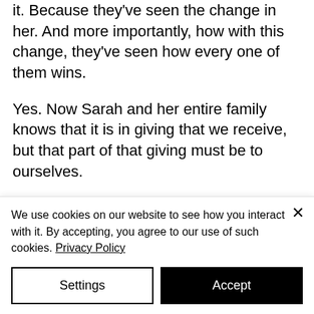it. Because they've seen the change in her. And more importantly, how with this change, they've seen how every one of them wins.
Yes. Now Sarah and her entire family knows that it is in giving that we receive, but that part of that giving must be to ourselves.
And so from this comes the invitation to honor the gardener within you. The part of you that
We use cookies on our website to see how you interact with it. By accepting, you agree to our use of such cookies. Privacy Policy